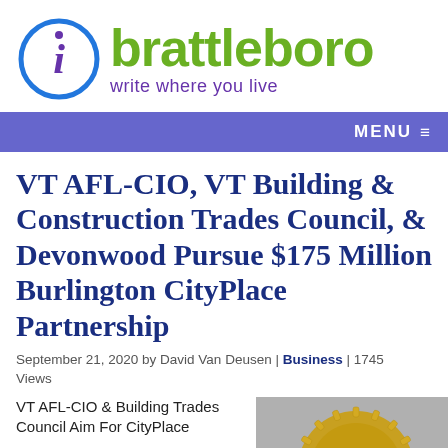[Figure (logo): iBrattleboro logo: blue circle with purple italic 'i' inside, followed by green bold 'brattleboro' text and purple tagline 'write where you live']
MENU ≡
VT AFL-CIO, VT Building & Construction Trades Council, & Devonwood Pursue $175 Million Burlington CityPlace Partnership
September 21, 2020 by David Van Deusen | Business | 1745 Views
VT AFL-CIO & Building Trades Council Aim For CityPlace
[Figure (photo): Circular gold seal or badge with text 'BUILDING &' visible, partial view of a building trades emblem]